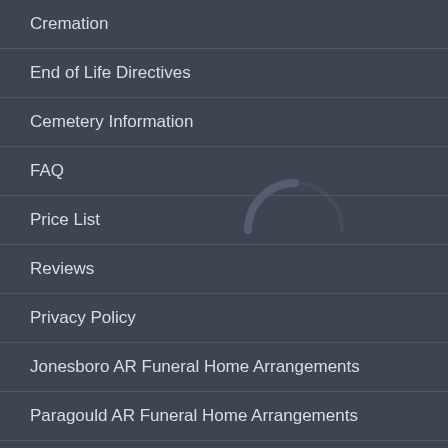Cremation
End of Life Directives
Cemetery Information
FAQ
Price List
Reviews
Privacy Policy
Jonesboro AR Funeral Home Arrangements
Paragould AR Funeral Home Arrangements
LOCATION
[Figure (map): Partial map showing a road with route marker 18 and a location pin at bottom, rendered in light grey tones]